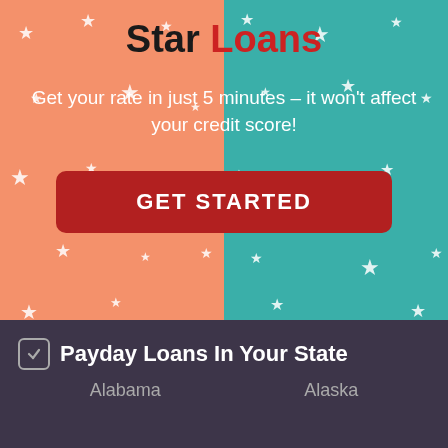[Figure (illustration): Promotional banner with split salmon/teal background covered in white stars. Contains title 'Star Loans', subtitle text, and a red GET STARTED button.]
Star Loans
Get your rate in just 5 minutes – it won't affect your credit score!
GET STARTED
Payday Loans In Your State
Alabama
Alaska